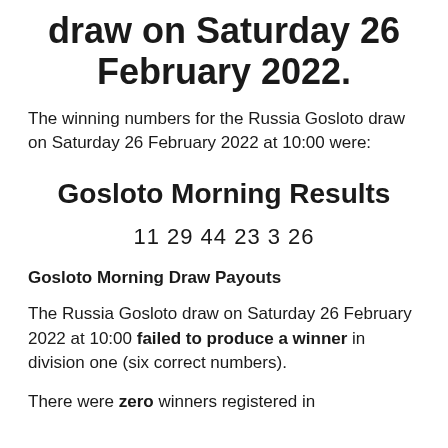draw on Saturday 26 February 2022.
The winning numbers for the Russia Gosloto draw on Saturday 26 February 2022 at 10:00 were:
Gosloto Morning Results
11 29 44 23 3 26
Gosloto Morning Draw Payouts
The Russia Gosloto draw on Saturday 26 February 2022 at 10:00 failed to produce a winner in division one (six correct numbers).
There were zero winners registered in